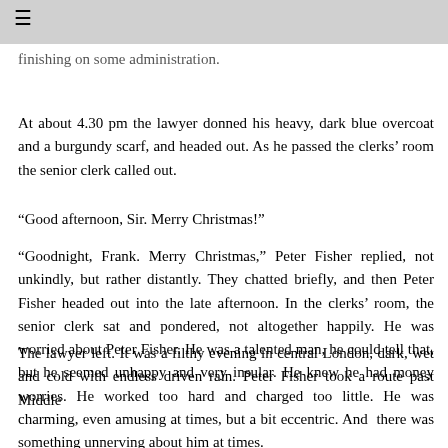≡
finishing on some administration.
At about 4.30 pm the lawyer donned his heavy, dark blue overcoat and a burgundy scarf, and headed out. As he passed the clerks' room the senior clerk called out.
“Good afternoon, Sir. Merry Christmas!”
“Goodnight, Frank. Merry Christmas,” Peter Fisher replied, not unkindly, but rather distantly. They chatted briefly, and then Peter Fisher headed out into the late afternoon. In the clerks’ room, the senior clerk sat and pondered, not altogether happily. He was worried about Peter Fisher. He was a talented man, he could tell that, but he seemed unhappy and very insular. He knew he had money worries. He worked too hard and charged too little. He was charming, even amusing at times, but a bit eccentric. And there was something unnerving about him at times.
The lawyer left. It was a filthy evening in central London, dark, wet and cold with endless driven rain. Peter Fisher took a route past Middle